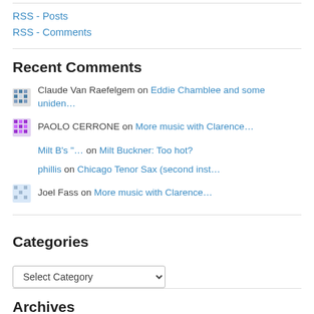RSS - Posts
RSS - Comments
Recent Comments
Claude Van Raefelgem on Eddie Chamblee and some uniden…
PAOLO CERRONE on More music with Clarence…
Milt B's "… on Milt Buckner: Too hot?
phillis on Chicago Tenor Sax (second inst…
Joel Fass on More music with Clarence…
Categories
Select Category
Archives